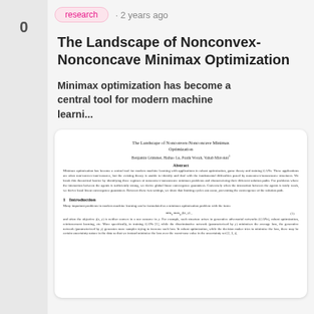0
research · 2 years ago
The Landscape of Nonconvex-Nonconcave Minimax Optimization
Minimax optimization has become a central tool for modern machine learni...
[Figure (screenshot): A thumbnail preview of the first page of the academic paper 'The Landscape of Nonconvex-Nonconcave Minimax Optimization' showing the title, authors, abstract, and beginning of the introduction section including a formula.]